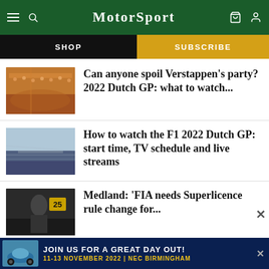Motor Sport
SHOP | SUBSCRIBE
[Figure (photo): Crowded grandstand with orange-clad fans at a Formula 1 circuit, aerial view of the track]
Can anyone spoil Verstappen's party? 2022 Dutch GP: what to watch...
[Figure (photo): Circuit panorama at dusk with grandstands and racing straight visible]
How to watch the F1 2022 Dutch GP: start time, TV schedule and live streams
[Figure (photo): Racing driver in black jacket near pit lane, number 25 visible]
Medland: 'FIA needs Superlicence rule change for...
JOIN US FOR A GREAT DAY OUT! 11-13 NOVEMBER 2022 | NEC BIRMINGHAM